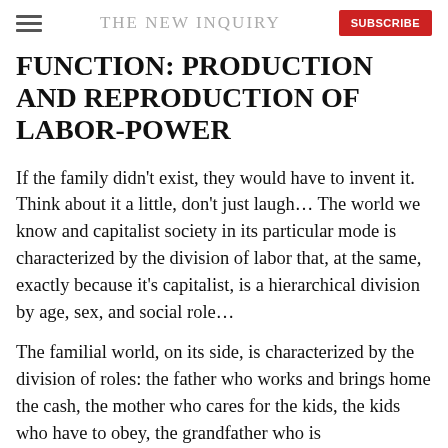THE NEW INQUIRY
FUNCTION: PRODUCTION AND REPRODUCTION OF LABOR-POWER
If the family didn't exist, they would have to invent it. Think about it a little, don't just laugh... The world we know and capitalist society in its particular mode is characterized by the division of labor that, at the same, exactly because it's capitalist, is a hierarchical division by age, sex, and social role...
The familial world, on its side, is characterized by the division of roles: the father who works and brings home the cash, the mother who cares for the kids, the kids who have to obey, the grandfather who is fundamentally superfluous